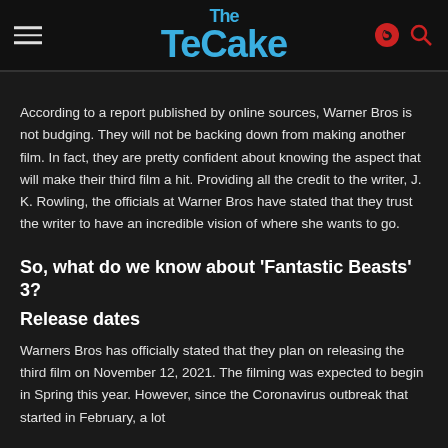The TeCake
According to a report published by online sources, Warner Bros is not budging. They will not be backing down from making another film. In fact, they are pretty confident about knowing the aspect that will make their third film a hit. Providing all the credit to the writer, J. K. Rowling, the officials at Warner Bros have stated that they trust the writer to have an incredible vision of where she wants to go.
So, what do we know about ‘Fantastic Beasts’ 3?
Release dates
Warners Bros has officially stated that they plan on releasing the third film on November 12, 2021. The filming was expected to begin in Spring this year. However, since the Coronavirus outbreak that started in February, a lot